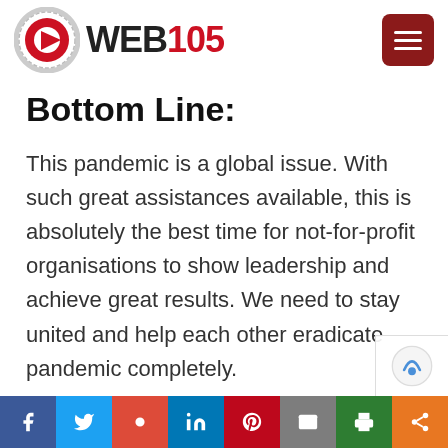[Figure (logo): WEB105 logo with circular gear/sun emblem and text WEB105 with 105 in red]
Bottom Line:
This pandemic is a global issue. With such great assistances available, this is absolutely the best time for not-for-profit organisations to show leadership and achieve great results. We need to stay united and help each other eradicate pandemic completely.